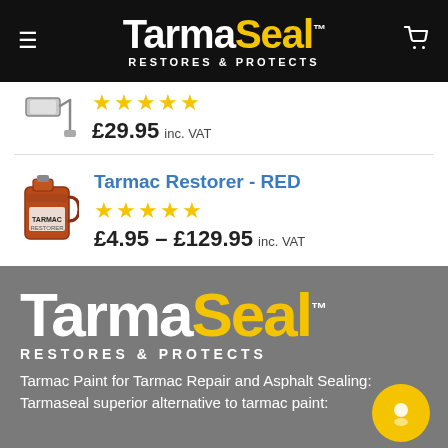[Figure (logo): TarmaSeal logo with 'RESTORES & PROTECTS' tagline on black header bar]
[Figure (photo): Partially visible paint roller product image]
★★★★★
£29.95 inc. VAT
Tarmac Restorer - RED
★★★★★
£4.95 – £129.95 inc. VAT
[Figure (logo): TarmaSeal logo with 'RESTORES & PROTECTS' tagline on gray footer background]
Tarmac Paint for Tarmac Repair and Asphalt Sealing: Tarmaseal superior alternative to tarmac paint: